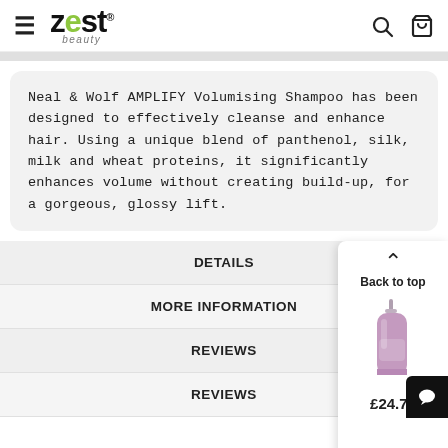Zest beauty — navigation header with hamburger menu, logo, search and bag icons
Neal & Wolf AMPLIFY Volumising Shampoo has been designed to effectively cleanse and enhance hair. Using a unique blend of panthenol, silk, milk and wheat proteins, it significantly enhances volume without creating build-up, for a gorgeous, glossy lift.
DETAILS
MORE INFORMATION
REVIEWS
REVIEWS
[Figure (illustration): Back to top widget with up arrow, shampoo bottle product image, and price £24.75]